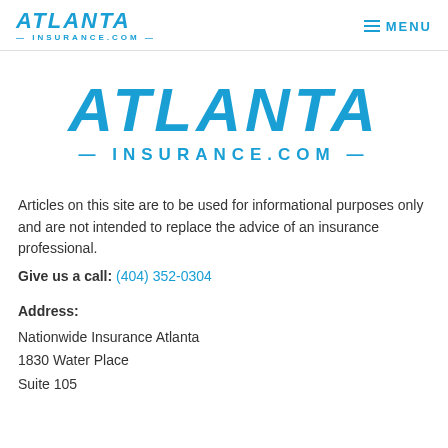Atlanta Insurance.com — MENU
[Figure (logo): Atlanta Insurance.com large centered logo in blue with decorative dashes flanking INSURANCE.COM]
Articles on this site are to be used for informational purposes only and are not intended to replace the advice of an insurance professional.
Give us a call: (404) 352-0304
Address:
Nationwide Insurance Atlanta
1830 Water Place
Suite 105